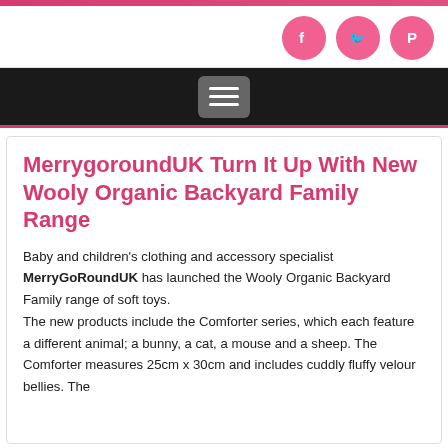[Figure (other): Pink top bar gradient strip]
[Figure (other): Social media icons: Facebook, Twitter, Pinterest — pink circular buttons on right side]
[Figure (other): Black navigation bar with hamburger menu button in center]
MerrygoroundUK Turn It Up With New Wooly Organic Backyard Family Range
Baby and children's clothing and accessory specialist MerryGoRoundUK has launched the Wooly Organic Backyard Family range of soft toys. The new products include the Comforter series, which each feature a different animal; a bunny, a cat, a mouse and a sheep. The Comforter measures 25cm x 30cm and includes cuddly fluffy velour bellies. The